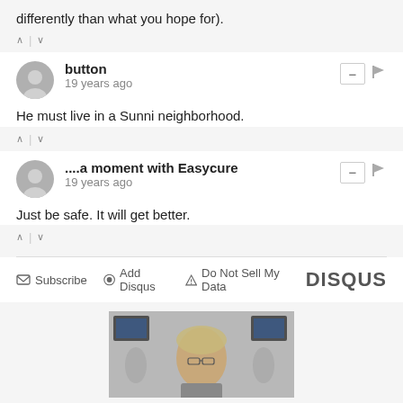differently than what you hope for).
button · 19 years ago
He must live in a Sunni neighborhood.
....a moment with Easycure · 19 years ago
Just be safe. It will get better.
Subscribe · Add Disqus · Do Not Sell My Data · DISQUS
[Figure (photo): Partial photo of a middle-aged man with gray/blonde hair and glasses, in a busy office environment with screens in background.]